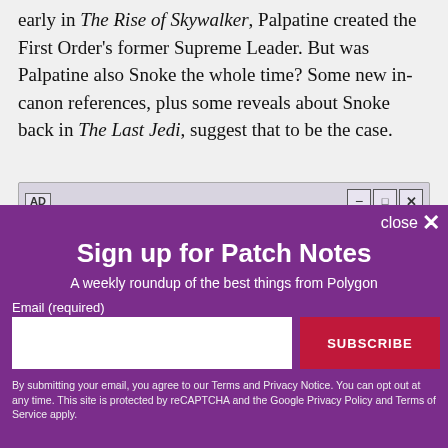early in The Rise of Skywalker, Palpatine created the First Order's former Supreme Leader. But was Palpatine also Snoke the whole time? Some new in-canon references, plus some reveals about Snoke back in The Last Jedi, suggest that to be the case.
[Figure (screenshot): Advertisement bar with AD label and window control buttons (minimize, maximize, close)]
[Figure (screenshot): Sign up for Patch Notes modal overlay on purple background with email input field and SUBSCRIBE button]